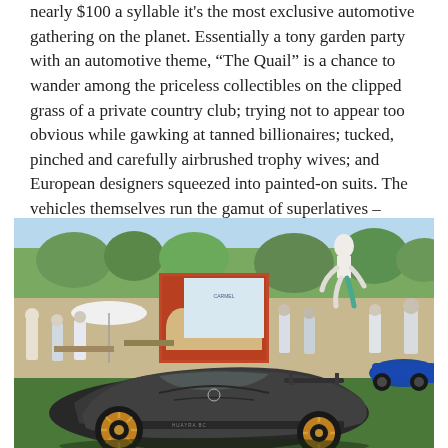nearly $100 a syllable it's the most exclusive automotive gathering on the planet. Essentially a tony garden party with an automotive theme, “The Quail” is a chance to wander among the priceless collectibles on the clipped grass of a private country club; trying not to appear too obvious while gawking at tanned billionaires; tucked, pinched and carefully airbrushed trophy wives; and European designers squeezed into painted-on suits. The vehicles themselves run the gamut of superlatives – from vintage British racecars, bespoke coachwork, to multi-million-dollar carbon-fibre exotic supercars.
[Figure (photo): Outdoor automotive show scene with a dark grey Pagani Huayra supercar with gold wheels in the foreground on green grass, crowds of people milling around, a white umbrella/parasol, a brick arched building with a banner, trees in the background, and a large white sculptural figure (like a sailor or dancing figure) elevated in the upper right area. Blue Pagani visible on the right side.]